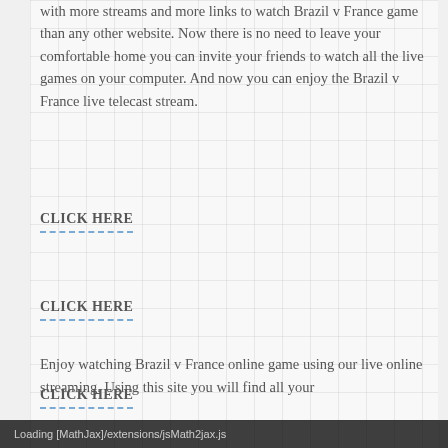with more streams and more links to watch Brazil v France game than any other website. Now there is no need to leave your comfortable home you can invite your friends to watch all the live games on your computer. And now you can enjoy the Brazil v France live telecast stream.
CLICK HERE
CLICK HERE
CLICK HERE
Enjoy watching Brazil v France online game using our live online streaming. Using this site you will find all your
Loading [MathJax]/extensions/jsMath2jax.js